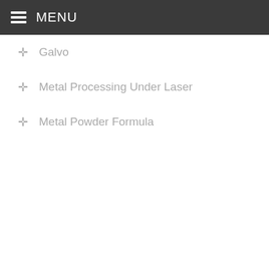MENU
Galvo
Metal Processing Under Laser
Metal Powder Formula